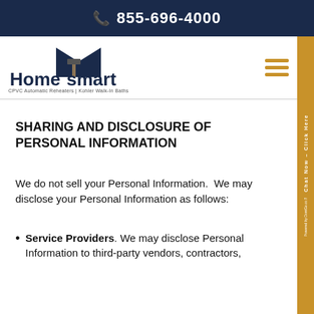855-696-4000
[Figure (logo): Home Smart Industries logo with house and hammer icon, text reads 'HomeSmart INDUSTRIES', tagline: 'CPVC Automatic Reheaters | Kohler Walk-In Baths']
SHARING AND DISCLOSURE OF PERSONAL INFORMATION
We do not sell your Personal Information.  We may disclose your Personal Information as follows:
Service Providers. We may disclose Personal Information to third-party vendors, contractors,